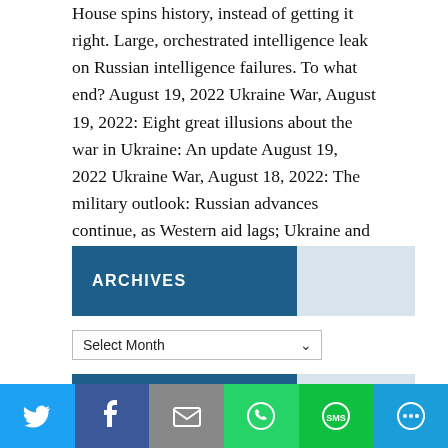House spins history, instead of getting it right. Large, orchestrated intelligence leak on Russian intelligence failures. To what end? August 19, 2022 Ukraine War, August 19, 2022: Eight great illusions about the war in Ukraine: An update August 19, 2022 Ukraine War, August 18, 2022: The military outlook: Russian advances continue, as Western aid lags; Ukraine and allies are losing the war August 18, 2022
ARCHIVES
BLOGROLL